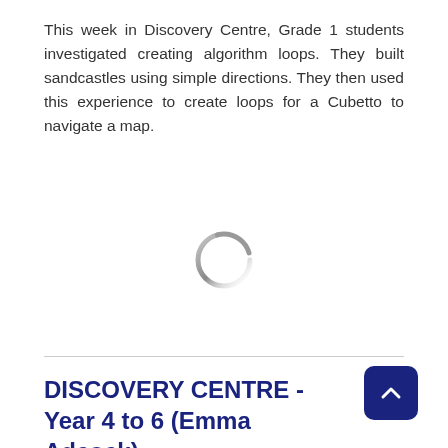This week in Discovery Centre, Grade 1 students investigated creating algorithm loops. They built sandcastles using simple directions. They then used this experience to create loops for a Cubetto to navigate a map.
[Figure (other): Loading spinner icon (circular arc, grey gradient) indicating image is loading]
DISCOVERY CENTRE - Year 4 to 6 (Emma Adcock)